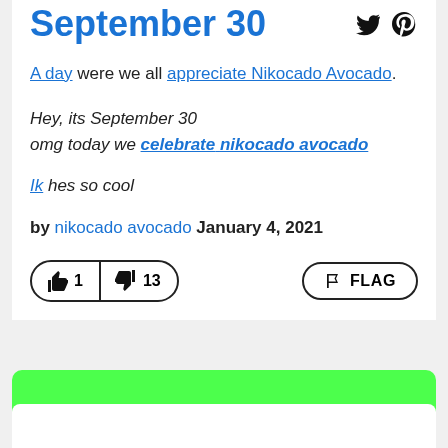September 30
A day were we all appreciate Nikocado Avocado.
Hey, its September 30
omg today we celebrate nikocado avocado
Ik hes so cool
by nikocado avocado January 4, 2021
👍 1  👎 13  FLAG
Get the September 30 mug.